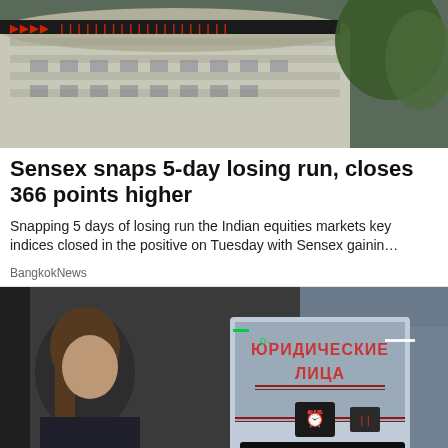[Figure (photo): Photo of a stock exchange building exterior with LED ticker display showing numbers, trees visible in background]
Sensex snaps 5-day losing run, closes 366 points higher
Snapping 5 days of losing run the Indian equities markets key indices closed in the positive on Tuesday with Sensex gainin…
BangkokNews
[Figure (photo): Photo of a woman walking past a currency exchange board in Russia showing rates 68.50 and 77.50, with Cyrillic text ЮРИДИЧЕСКИЕ ЛИЦА on the display]